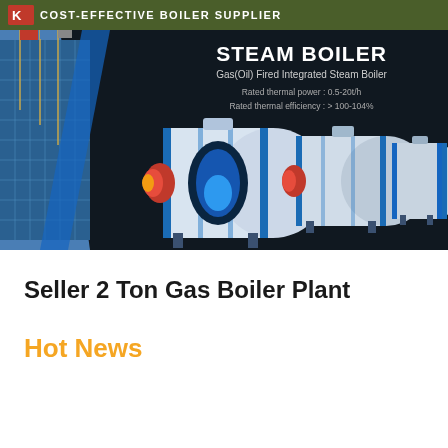COST-EFFECTIVE BOILER SUPPLIER
[Figure (photo): Product banner showing Steam Boiler – Gas(Oil) Fired Integrated Steam Boiler with boiler unit images on dark background and building exterior on the left. Text: STEAM BOILER, Gas(Oil) Fired Integrated Steam Boiler, Rated thermal power: 0.5-20t/h, Rated thermal efficiency: > 100-104%]
Seller 2 Ton Gas Boiler Plant
Hot News